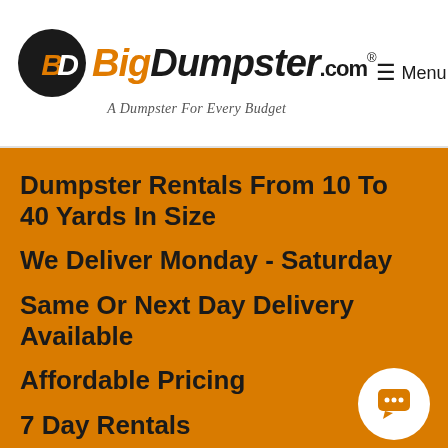BigDumpster.com — A Dumpster For Every Budget | Menu
Dumpster Rentals From 10 To 40 Yards In Size
We Deliver Monday - Saturday
Same Or Next Day Delivery Available
Affordable Pricing
7 Day Rentals